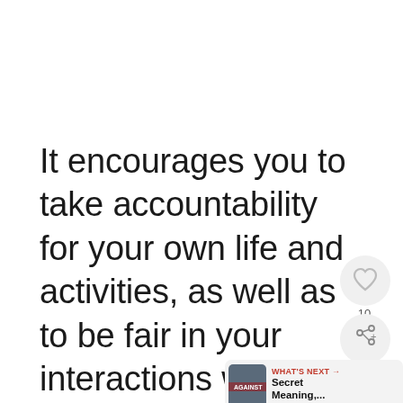It encourages you to take accountability for your own life and activities, as well as to be fair in your interactions with others. Try not to be afraid of these adjustments because they can teach you the skills you ne to face life's challenges. It also pertains to problem-solving and emphasizes the need of bringing
[Figure (other): UI overlay showing heart/like button with count of 10, share button, and a 'What's Next' panel with thumbnail and text 'Secret Meaning,...']